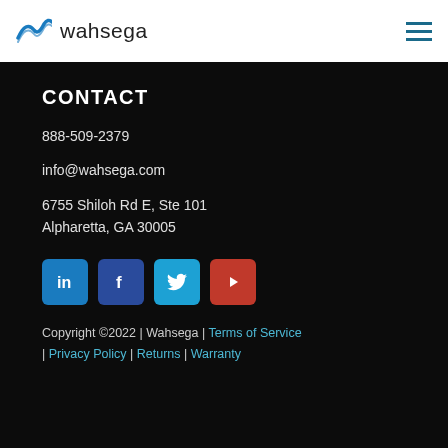wahsega
CONTACT
888-509-2379

info@wahsega.com

6755 Shiloh Rd E, Ste 101
Alpharetta, GA 30005
[Figure (infographic): Social media icons: LinkedIn (blue), Facebook (dark blue), Twitter (light blue), YouTube (red)]
Copyright ©2022 | Wahsega | Terms of Service | Privacy Policy | Returns | Warranty